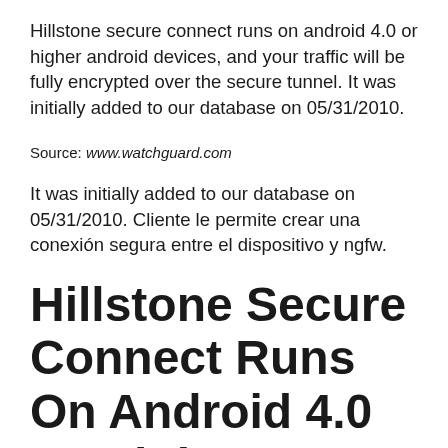Hillstone secure connect runs on android 4.0 or higher android devices, and your traffic will be fully encrypted over the secure tunnel. It was initially added to our database on 05/31/2010.
Source: www.watchguard.com
It was initially added to our database on 05/31/2010. Cliente le permite crear una conexión segura entre el dispositivo y ngfw.
Hillstone Secure Connect Runs On Android 4.0 Or Higher Android Devices, And Your Traffic Will Be...